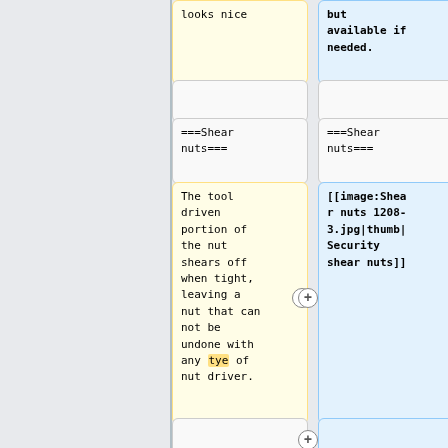looks nice
but available if needed.
===Shear nuts===
===Shear nuts===
The tool driven portion of the nut shears off when tight, leaving a nut that can not be undone with any tye of nut driver.
[[image:Shear nuts 1208-3.jpg|thumb|Security shear nuts]]